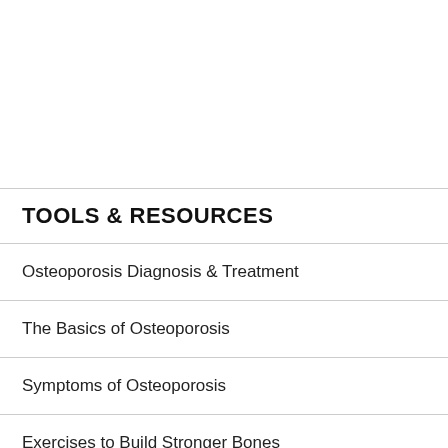TOOLS & RESOURCES
Osteoporosis Diagnosis & Treatment
The Basics of Osteoporosis
Symptoms of Osteoporosis
Exercises to Build Stronger Bones